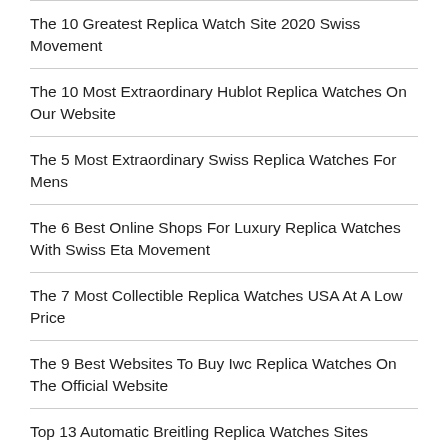The 10 Greatest Replica Watch Site 2020 Swiss Movement
The 10 Most Extraordinary Hublot Replica Watches On Our Website
The 5 Most Extraordinary Swiss Replica Watches For Mens
The 6 Best Online Shops For Luxury Replica Watches With Swiss Eta Movement
The 7 Most Collectible Replica Watches USA At A Low Price
The 9 Best Websites To Buy Iwc Replica Watches On The Official Website
Top 13 Automatic Breitling Replica Watches Sites